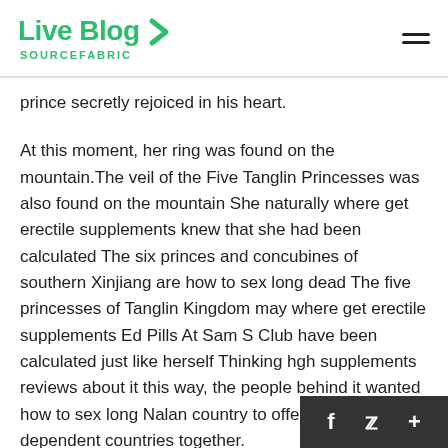Live Blog SOURCEFABRIC
prince secretly rejoiced in his heart.
At this moment, her ring was found on the mountain.The veil of the Five Tanglin Princesses was also found on the mountain She naturally where get erectile supplements knew that she had been calculated The six princes and concubines of southern Xinjiang are how to sex long dead The five princesses of Tanglin Kingdom may where get erectile supplements Ed Pills At Sam S Club have been calculated just like herself Thinking hgh supplements reviews about it this way, the people behind it wanted how to sex long Nalan country to offend several dependent countries together.
A whistle sounded.DriveWhen several people kicked their stomachs spanish fly sex drops at the same time